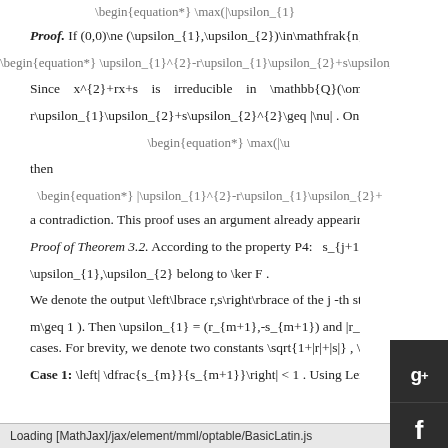\begin{equation*} \max(|\upsilon_{1}
Proof. If (0,0)\ne (\upsilon_{1},\upsilon_{2})\in\mathfrak{n}' , then \upsilon_{1}
\begin{equation*} \upsilon_{1}^{2}-r\upsilon_{1}\upsilon_{2}+s\upsilon_{2}
Since x^{2}+rx+s is irreducible in \mathbb{Q}(\omega) because r\upsilon_{1}\upsilon_{2}+s\upsilon_{2}^{2}\geq |\nu| . On the other hand, if
\begin{equation*} \max(|\u
then
\begin{equation*} |\upsilon_{1}^{2}-r\upsilon_{1}\upsilon_{2}+
a contradiction. This proof uses an argument already appearing in th
Proof of Theorem 3.2. According to the property P4: s_{j+1} \upsilon_{1},\upsilon_{2} belong to \ker F .
We denote the output \left\lbrace r,s\right\rbrace of the j -th step in m\geq 1 ). Then \upsilon_{1} = (r_{m+1},-s_{m+1}) and |r_{m}|\geq \sqrt{\frac{3} cases. For brevity, we denote two constants \sqrt{1+|r|+|s|} , \sqrt{\frac{3+\sqrt{3}
Case 1: \left| \dfrac{s_{m}}{s_{m+1}}\right| < 1 . Using Lemma 3.4 we have |s
Loading [MathJax]/jax/element/mml/optable/BasicLatin.js